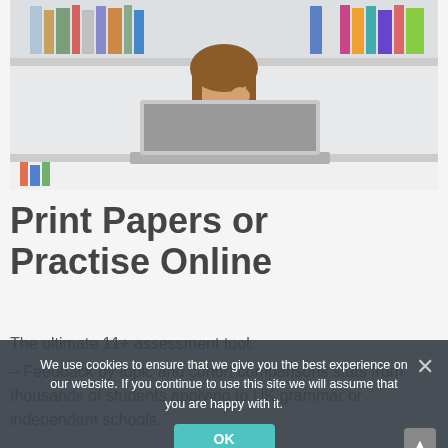[Figure (photo): A young girl with long brown hair, wearing a grey striped sweater, sitting at a desk with an open laptop. Behind her are bookshelves filled with colorful books. She has her hand raised near her mouth in a thoughtful or surprised pose. The background is light and bright.]
Print Papers or Practise Online
The ultimate 11+ assessment tool.
Feedback by topic and cohort comparisons stats from thousands of students applying to UK grammar or independent schools.
We use cookies to ensure that we give you the best experience on our website. If you continue to use this site we will assume that you are happy with it.